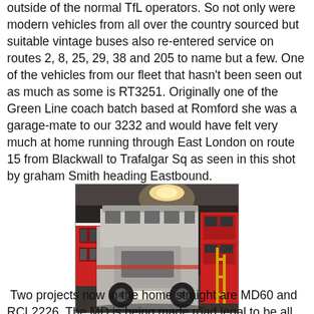outside of the normal TfL operators. So not only were modern vehicles from all over the country sourced but suitable vintage buses also re-entered service on routes 2, 8, 25, 29, 38 and 205 to name but a few. One of the vehicles from our fleet that hasn't been seen out as much as some is RT3251. Originally one of the Green Line coach batch based at Romford she was a garage-mate to our 3232 and would have felt very much at home running through East London on route 15 from Blackwall to Trafalgar Sq as seen in this shot by graham Smith heading Eastbound.
[Figure (photo): A double-decker bus in an unpainted/primer state photographed from the rear inside a garage or depot. Another red double-decker bus is visible to the right behind it. The bus appears to be undergoing restoration or preparation work.]
Two projects now in the home straight are MD60 and RCL2226. The MD is being made road legal to be all set for